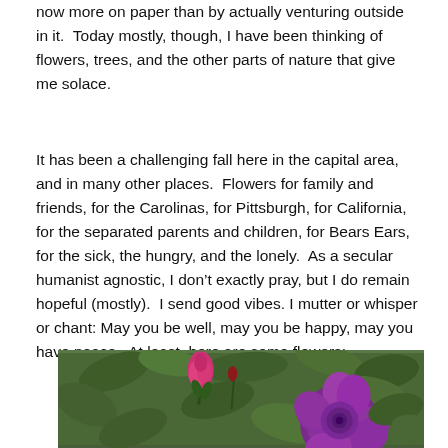now more on paper than by actually venturing outside in it.  Today mostly, though, I have been thinking of flowers, trees, and the other parts of nature that give me solace.
It has been a challenging fall here in the capital area, and in many other places.  Flowers for family and friends, for the Carolinas, for Pittsburgh, for California, for the separated parents and children, for Bears Ears, for the sick, the hungry, and the lonely.  As a secular humanist agnostic, I don't exactly pray, but I do remain hopeful (mostly).  I send good vibes. I mutter or whisper or chant: May you be well, may you be happy, may you have peace.  At least, here are some flowers:
[Figure (photo): A photograph of flowers including a pink/magenta rose bud and a large open purple/magenta rose, surrounded by green foliage and leaves.]